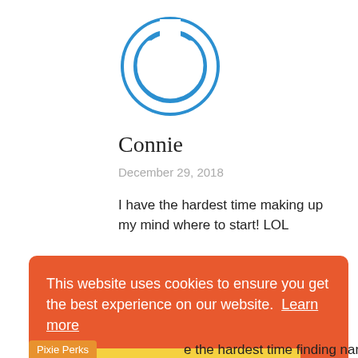[Figure (logo): Blue circular power button icon avatar]
Connie
December 29, 2018
I have the hardest time making up my mind where to start! LOL
[Figure (illustration): Partial blue circular avatar at bottom]
This website uses cookies to ensure you get the best experience on our website.  Learn more
Got it!
Pixie Perks
e the hardest time finding narrow Velcro.